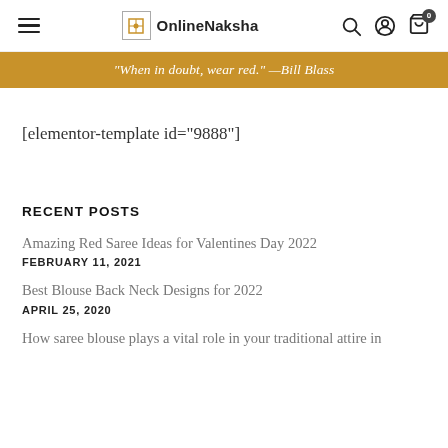OnlineNaksha — navigation header with hamburger menu, logo, search, account, and cart icons
“When in doubt, wear red.” —Bill Blass
[elementor-template id="9888"]
RECENT POSTS
Amazing Red Saree Ideas for Valentines Day 2022
FEBRUARY 11, 2021
Best Blouse Back Neck Designs for 2022
APRIL 25, 2020
How saree blouse plays a vital role in your traditional attire in